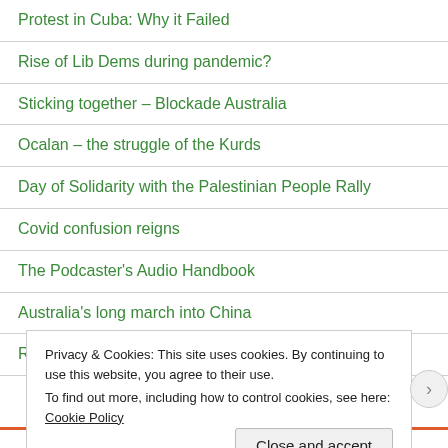Protest in Cuba: Why it Failed
Rise of Lib Dems during pandemic?
Sticking together – Blockade Australia
Ocalan – the struggle of the Kurds
Day of Solidarity with the Palestinian People Rally
Covid confusion reigns
The Podcaster's Audio Handbook
Australia's long march into China
Refugee solidarity (Meanjin) revisited
Privacy & Cookies: This site uses cookies. By continuing to use this website, you agree to their use.
To find out more, including how to control cookies, see here: Cookie Policy
Close and accept